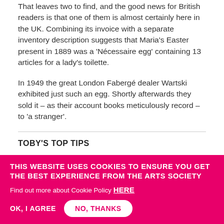That leaves two to find, and the good news for British readers is that one of them is almost certainly here in the UK. Combining its invoice with a separate inventory description suggests that Maria’s Easter present in 1889 was a ‘Nécessaire egg’ containing 13 articles for a lady’s toilette.
In 1949 the great London Fabergé dealer Wartski exhibited just such an egg. Shortly afterwards they sold it – as their account books meticulously record – to ‘a stranger’.
TOBY’S TOP TIPS
Watch out for ‘Fauxbergé’. Imperial Easter eggs never appeared for sale in the shop, so they
THIS WEBSITE USES COOKIES TO ENSURE YOU GET THE BEST EXPERIENCE FROM THE ARTS SOCIETY
Find out more about Cookie Policy HERE
OK, I AGREE
NO, THANKS